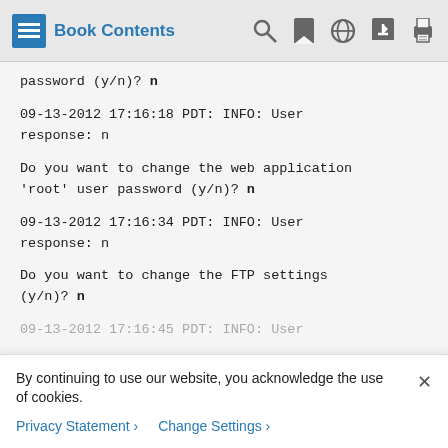Book Contents
password (y/n)? n
09-13-2012 17:16:18 PDT: INFO: User response: n
Do you want to change the web application 'root' user password (y/n)? n
09-13-2012 17:16:34 PDT: INFO: User response: n
Do you want to change the FTP settings (y/n)? n
09-13-2012 17:16:45 PDT: INFO: User
By continuing to use our website, you acknowledge the use of cookies.
Privacy Statement › Change Settings ›